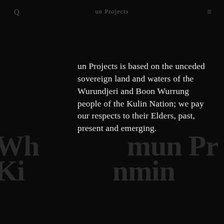un Projects
un Projects is based on the unceded sovereign land and waters of the Wurundjeri and Boon Wurrung people of the Kulin Nation; we pay our respects to their Elders, past, present and emerging.